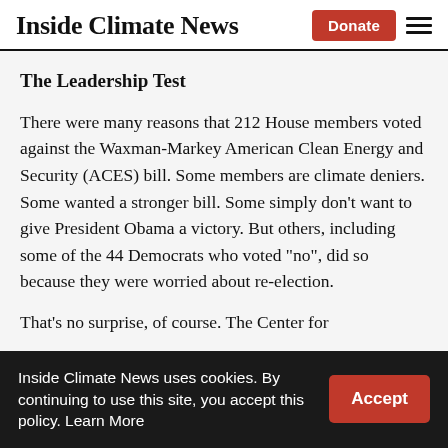Inside Climate News
The Leadership Test
There were many reasons that 212 House members voted against the Waxman-Markey American Clean Energy and Security (ACES) bill. Some members are climate deniers. Some wanted a stronger bill. Some simply don’t want to give President Obama a victory. But others, including some of the 44 Democrats who voted “no”, did so because they were worried about re-election.
That’s no surprise, of course. The Center for
Inside Climate News uses cookies. By continuing to use this site, you accept this policy. Learn More